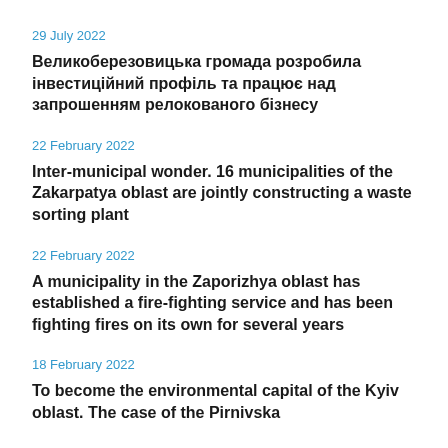29 July 2022
Великоберезовицька громада розробила інвестиційний профіль та працює над запрошенням релокованого бізнесу
22 February 2022
Inter-municipal wonder. 16 municipalities of the Zakarpatya oblast are jointly constructing a waste sorting plant
22 February 2022
A municipality in the Zaporizhya oblast has established a fire-fighting service and has been fighting fires on its own for several years
18 February 2022
To become the environmental capital of the Kyiv oblast. The case of the Pirnivska